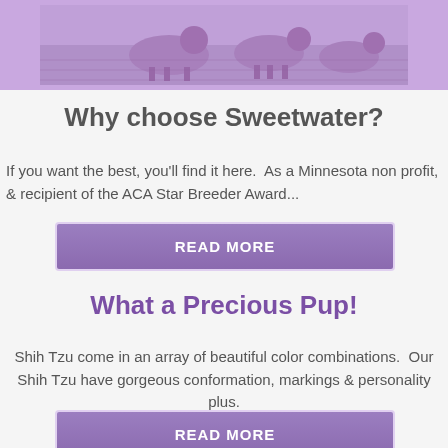[Figure (photo): A photo of dogs/puppies on grass, tinted purple/lavender]
Why choose Sweetwater?
If you want the best, you'll find it here.  As a Minnesota non profit, & recipient of the ACA Star Breeder Award...
READ MORE
What a Precious Pup!
Shih Tzu come in an array of beautiful color combinations.  Our Shih Tzu have gorgeous conformation, markings & personality plus.
READ MORE